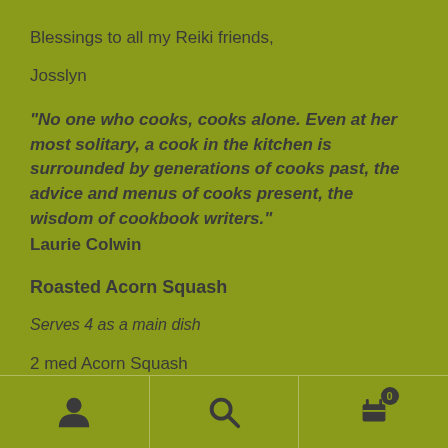Blessings to all my Reiki friends,
Josslyn
“No one who cooks, cooks alone. Even at her most solitary, a cook in the kitchen is surrounded by generations of cooks past, the advice and menus of cooks present, the wisdom of cookbook writers.”
Laurie Colwin
Roasted Acorn Squash
Serves 4 as a main dish
2 med Acorn Squash
[Figure (other): Bottom navigation bar with user/profile icon, search icon, and shopping cart icon with badge showing 0]